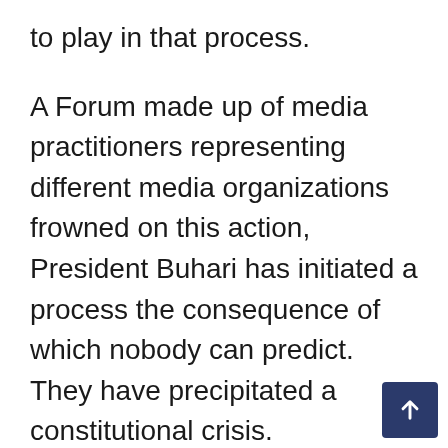to play in that process.
A Forum made up of media practitioners representing different media organizations frowned on this action, President Buhari has initiated a process the consequence of which nobody can predict. They have precipitated a constitutional crisis.
We are calling on President Buhari to immediately reverse this decision and allow the due process of law to take its natural course in determining the guilt or otherwise as well as the suitability of Hon. Justice